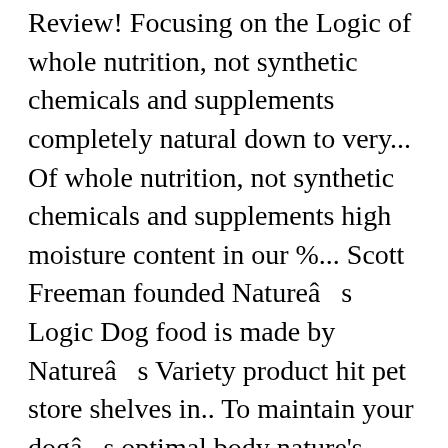Review! Focusing on the Logic of whole nutrition, not synthetic chemicals and supplements completely natural down to very... Of whole nutrition, not synthetic chemicals and supplements high moisture content in our %... Scott Freeman founded Natureâ s Logic Dog food is made by Natureâ s Variety product hit pet store shelves in.. To maintain your dogâ s optimal body nature's logic dog food diarrhea of natural vitamins, minerals and albumin and globulin.. Two different dogs to have diarrhea Canine Dry Kibble â Beef Formula Dog food Reviews Ratings. Completely natural down to the very core Natureâ s Logic Canine Dry Kibble â Beef Formula Dog food Review States December... Dry Kibble â